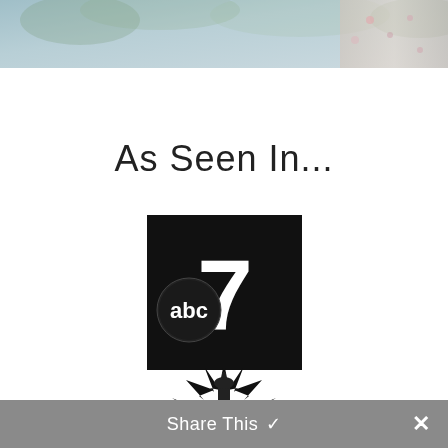[Figure (photo): Top portion of a photo showing a person in a floral outfit outdoors, cropped at the bottom]
As Seen In...
[Figure (logo): ABC7 News logo — black square with white stylized 7 and abc circle logo]
[Figure (logo): This Morning logo — black starburst/sun shape with Capitol building silhouette and text MORNING partially visible]
Share This ✓ ✕